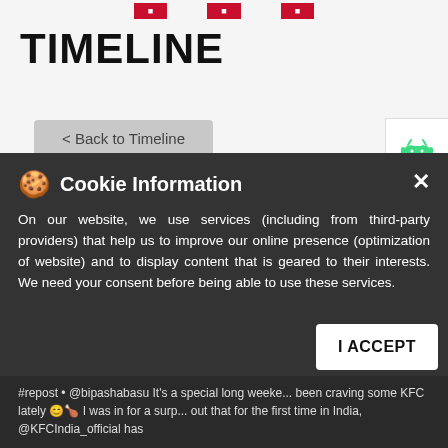Navigation buttons (red)
TIMELINE
< Back to Timeline
[Figure (illustration): Android and Apple app store icons in a white panel on the right side]
Cookie Information
On our website, we use services (including from third-party providers) that help us to improve our online presence (optimization of website) and to display content that is geared to their interests. We need your consent before being able to use these services.
#repost • @bipashabasu It's a special long weekend... been craving some KFC lately 😊🍗 I was in for a surprise... out that for the first time in India, @KFCIndia_official has